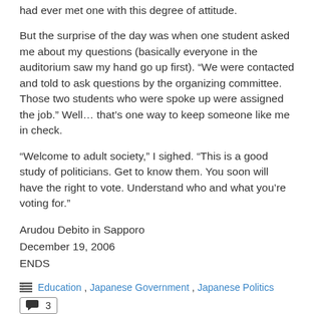had ever met one with this degree of attitude.
But the surprise of the day was when one student asked me about my questions (basically everyone in the auditorium saw my hand go up first). “We were contacted and told to ask questions by the organizing committee. Those two students who were spoke up were assigned the job.” Well… that’s one way to keep someone like me in check.
“Welcome to adult society,” I sighed. “This is a good study of politicians. Get to know them. You soon will have the right to vote. Understand who and what you’re voting for.”
Arudou Debito in Sapporo
December 19, 2006
ENDS
Education, Japanese Government, Japanese Politics
IHT: More Americans giving up US citizenship